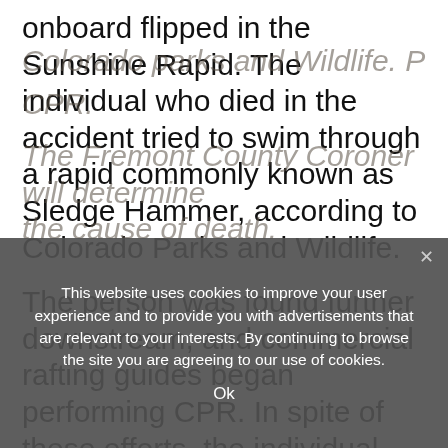onboard flipped in the Sunshine Rapid. The individual who died in the accident tried to swim through a rapid commonly known as Sledge Hammer, according to Colorado Parks and Wildlife.
The person was found further downstream, and commercial rafting guides began performing CPR. In spite of these efforts, the individual was pronounced dead before
Colorado Parks and Wildlife. Performing CPR. The Fremont County Coroner will determine the cause of death.
This website uses cookies to improve your user experience and to provide you with advertisements that are relevant to your interests. By continuing to browse the site you are agreeing to our use of cookies.
Ok